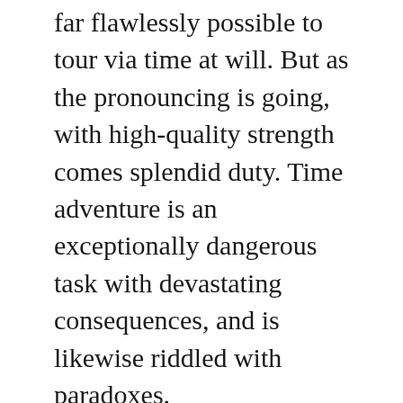far flawlessly possible to tour via time at will. But as the pronouncing is going, with high-quality strength comes splendid duty. Time adventure is an exceptionally dangerous task with devastating consequences, and is likewise riddled with paradoxes.
For example, what if I travelled returned in time and avoided World War II? Sounds like a super idea proper? Countless lives might be stored, I'd be hailed as a hero! Not generally. Although